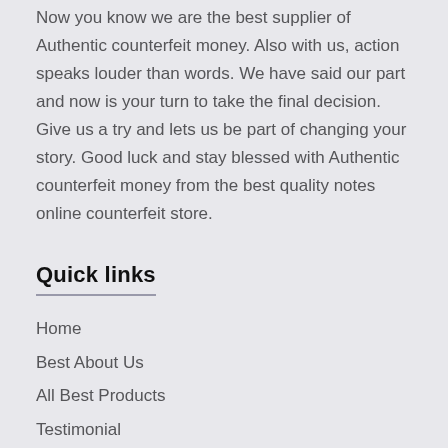Now you know we are the best supplier of Authentic counterfeit money. Also with us, action speaks louder than words. We have said our part and now is your turn to take the final decision. Give us a try and lets us be part of changing your story. Good luck and stay blessed with Authentic counterfeit money from the best quality notes online counterfeit store.
Quick links
Home
Best About Us
All Best Products
Testimonial
FAQ
Privacy Polic…